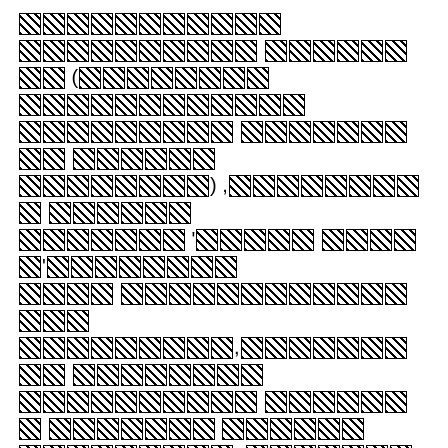[redacted text block - multiple lines of redacted/censored content shown as crossed box characters]